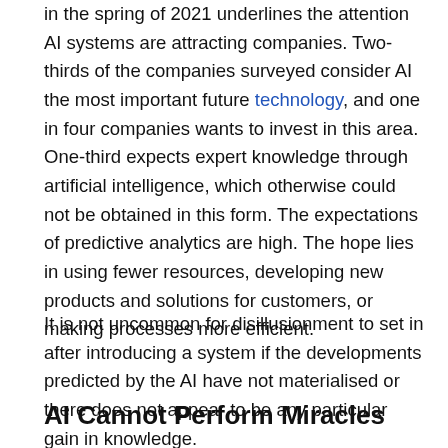in the spring of 2021 underlines the attention AI systems are attracting companies. Two-thirds of the companies surveyed consider AI the most important future technology, and one in four companies wants to invest in this area. One-third expects expert knowledge through artificial intelligence, which otherwise could not be obtained in this form. The expectations of predictive analytics are high. The hope lies in using fewer resources, developing new products and solutions for customers, or making processes more efficient.
It is not uncommon for disillusionment to set in after introducing a system if the developments predicted by the AI have not materialised or there does not appear to be any particular gain in knowledge.
AI Cannot Perform Miracles